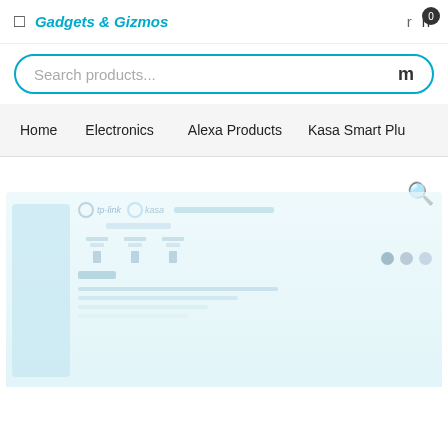Gadgets & Gizmos
Search products...
Home   Electronics   Alexa Products   Kasa Smart Plu
[Figure (screenshot): Faded e-commerce product listing page showing a product card with tp-link and kasa logos, product specifications, color options, and rating bars]